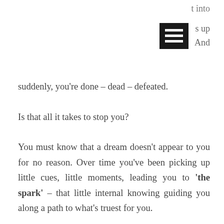t into
[Figure (illustration): Black hamburger/menu icon (three horizontal white bars on black background) with text 's up' and 'And' to its right]
suddenly, you're done – dead – defeated.
Is that all it takes to stop you?
You must know that a dream doesn't appear to you for no reason. Over time you've been picking up little cues, little moments, leading you to 'the spark' – that little internal knowing guiding you along a path to what's truest for you.